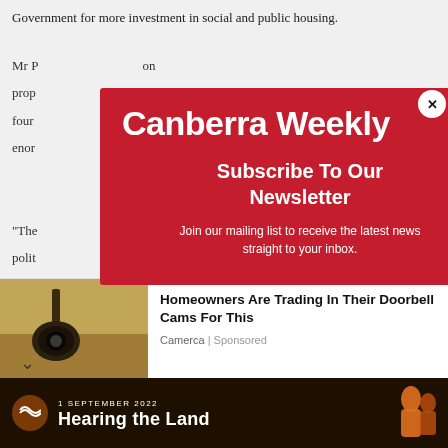Government for more investment in social and public housing.
Mr P... on prop... ext four... enorm...
“The... polit... hasn... t the secto... Gree... he game...
[Figure (screenshot): Canberra Weekly newsletter subscription modal overlay on red background with close button]
[Figure (photo): Advertisement: Homeowners Are Trading In Their Doorbell Cams For This - Camerca Sponsored, with image of security camera on wall]
[Figure (infographic): Event banner: 1 September 2022 - Hearing the Land, dark brown background with orange silhouette graphics]